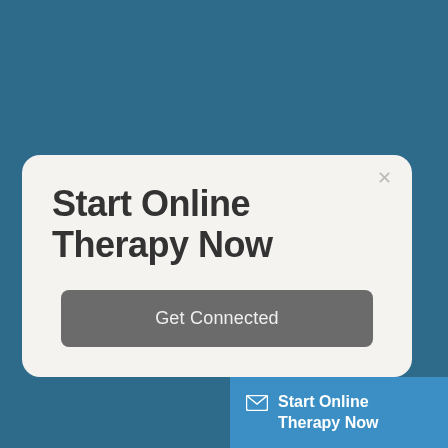Start Online Therapy Now
Get Connected
Start Online Therapy Now